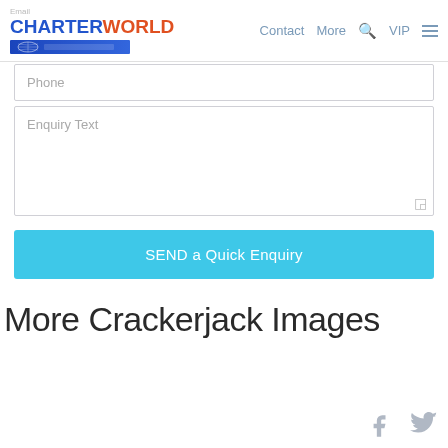CHARTERWORLD — Contact More VIP
Phone
Enquiry Text
SEND a Quick Enquiry
More Crackerjack Images